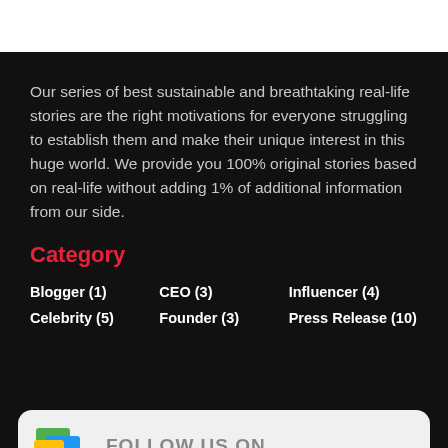Our series of best sustainable and breathtaking real-life stories are the right motivations for everyone struggling to establish them and make their unique interest in this huge world. We provide you 100% original stories based on real-life without adding 1% of additional information from our side.
Category
Blogger (1)
CEO (3)
Influencer (4)
Celebrity (5)
Founder (3)
Press Release (10)
FOLLOW US ON